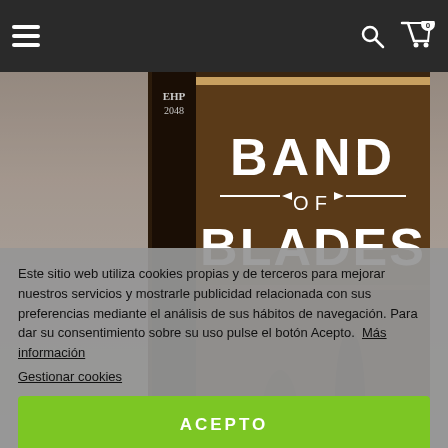Productos relacionados
[Figure (photo): 3D rendered hardcover book titled 'Band of Blades' with dark brown spine and decorative lettering, showing fantasy artwork in background]
Este sitio web utiliza cookies propias y de terceros para mejorar nuestros servicios y mostrarle publicidad relacionada con sus preferencias mediante el análisis de sus hábitos de navegación. Para dar su consentimiento sobre su uso pulse el botón Acepto.
Más información
Gestionar cookies
ACEPTO